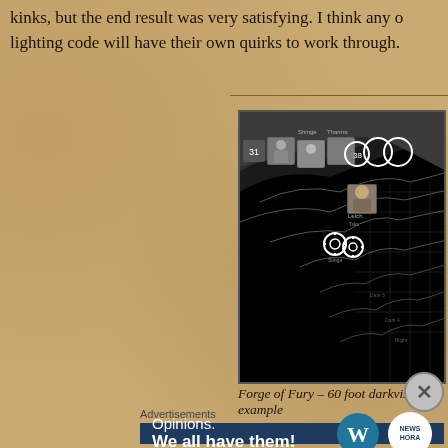kinks, but the end result was very satisfying. I think any other lighting code will have their own quirks to work through.
[Figure (screenshot): Forge of Fury game map screenshot showing darkvision example with 60 foot range. Dark tactical map with character tokens, circular vision indicators, and terrain contour lines.]
Forge of Fury – 60 foot darkvision example
Advertisements
[Figure (infographic): Advertisement banner with dark blue background reading 'Opinions. We all have them!' with WordPress logo and another circular logo on the right.]